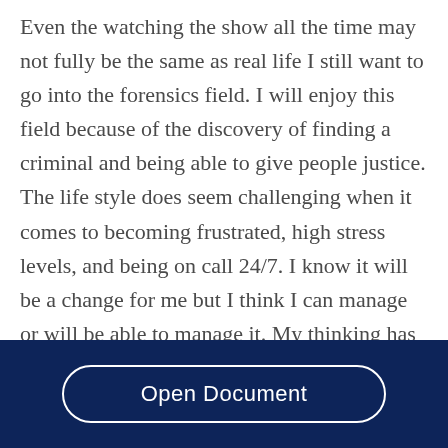Even the watching the show all the time may not fully be the same as real life I still want to go into the forensics field. I will enjoy this field because of the discovery of finding a criminal and being able to give people justice. The life style does seem challenging when it comes to becoming frustrated, high stress levels, and being on call 24/7. I know it will be a change for me but I think I can manage or will be able to manage it. My thinking has not change in a bad way but from doing this
Open Document